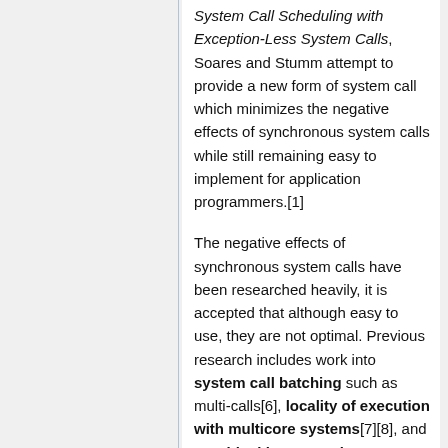System Call Scheduling with Exception-Less System Calls, Soares and Stumm attempt to provide a new form of system call which minimizes the negative effects of synchronous system calls while still remaining easy to implement for application programmers.[1]
The negative effects of synchronous system calls have been researched heavily, it is accepted that although easy to use, they are not optimal. Previous research includes work into system call batching such as multi-calls[6], locality of execution with multicore systems[7][8], and non-blocking execution. System call batching shares great similarity with FlexSC as multiple system calls are grouped together to reduce the amount of mode switches